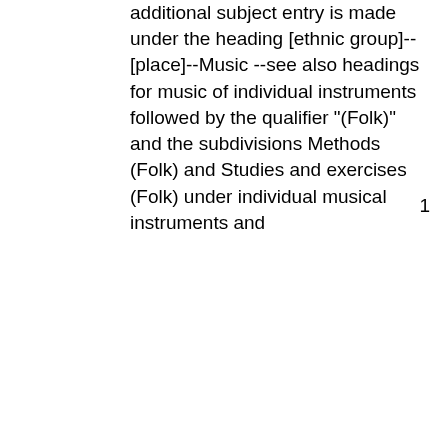additional subject entry is made under the heading [ethnic group]--[place]--Music --see also headings for music of individual instruments followed by the qualifier "(Folk)" and the subdivisions Methods (Folk) and Studies and exercises (Folk) under individual musical instruments and
1